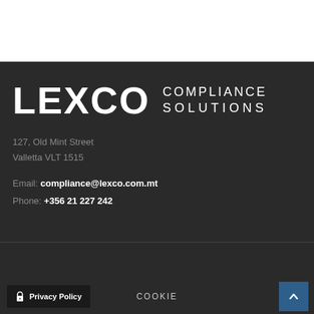[Figure (logo): LEXCO COMPLIANCE SOLUTIONS logo in white text on dark background]
127, Old Mint Street
Valletta VLT 1515
Email: compliance@lexco.com.mt
Phone: +356 21 227 242
Privacy Policy   COOKIE